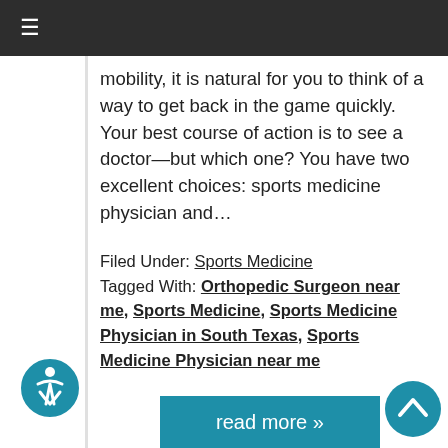≡
mobility, it is natural for you to think of a way to get back in the game quickly. Your best course of action is to see a doctor—but which one? You have two excellent choices: sports medicine physician and…
Filed Under: Sports Medicine
Tagged With: Orthopedic Surgeon near me, Sports Medicine, Sports Medicine Physician in South Texas, Sports Medicine Physician near me